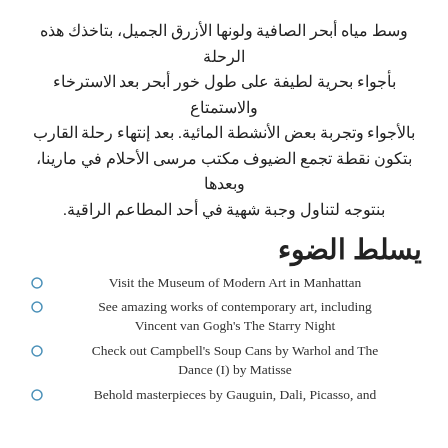وسط مياه أبحر الصافية ولونها الأزرق الجميل، بتاخذك هذه الرحلة بأجواء بحرية لطيفة على طول خور أبحر بعد الاسترخاء والاستمتاع بالأجواء وتجربة بعض الأنشطة المائية. بعد إنتهاء رحلة القارب بتكون نقطة تجمع الضيوف مكتب مرسى الأحلام في مارينا، وبعدها بنتوجه لتناول وجبة شهية في أحد المطاعم الراقية.
يسلط الضوء
Visit the Museum of Modern Art in Manhattan
See amazing works of contemporary art, including Vincent van Gogh's The Starry Night
Check out Campbell's Soup Cans by Warhol and The Dance (I) by Matisse
Behold masterpieces by Gauguin, Dali, Picasso, and